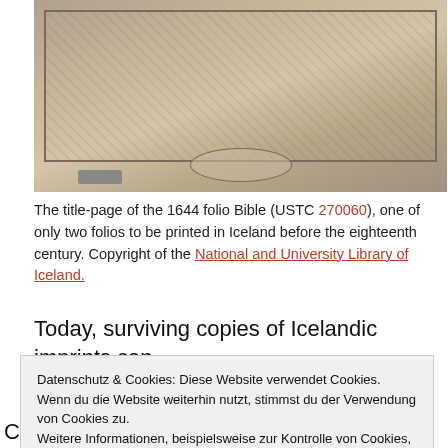[Figure (photo): Historical engraving or illustration from the title-page of the 1644 folio Bible, showing ornate decorative elements with an oval stamp/seal visible at the bottom center reading 'LANDSBOKASAFN ISLANDS'. A playback button is visible at the lower left of the image.]
The title-page of the 1644 folio Bible (USTC 270060), one of only two folios to be printed in Iceland before the eighteenth century. Copyright of the National and University Library of Iceland.
Today, surviving copies of Icelandic imprints can
Datenschutz & Cookies: Diese Website verwendet Cookies. Wenn du die Website weiterhin nutzt, stimmst du der Verwendung von Cookies zu.
Weitere Informationen, beispielsweise zur Kontrolle von Cookies, findest du hier: Cookie-Richtlinie
Schließen und akzeptieren
C
nd at the British Library, but the